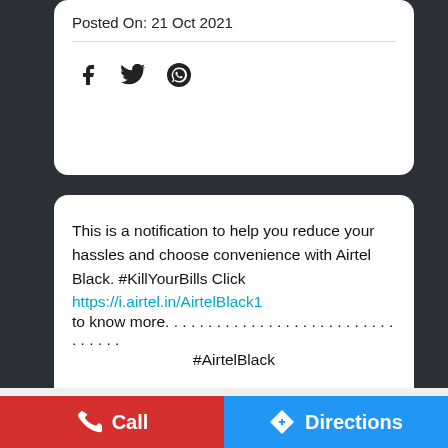Posted On: 21 Oct 2021
[Figure (other): Social share icons: Facebook, Twitter, WhatsApp]
This is a notification to help you reduce your hassles and choose convenience with Airtel Black. #KillYourBills Click https://i.airtel.in/AirtelBlack1 to know more. . . . . . . . . . . . . . . . . . . . . . . . . . . . . . . . . #AirtelBlack
This store is closed. Please check out the Nearby Stores below
[Figure (other): Social share icons: Facebook, Twitter, WhatsApp]
Call
Directions